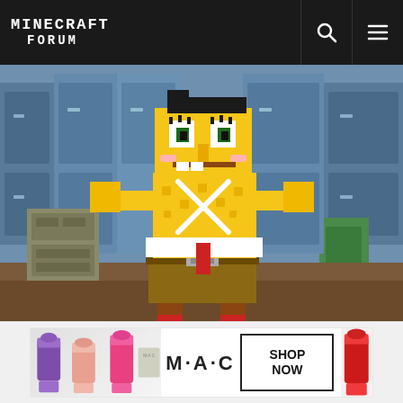MINECRAFT FORUM
[Figure (screenshot): Minecraft-style 3D render of a blocky SpongeBob SquarePants character standing in what appears to be an underwater interior scene with lockers and cabinets. A white X icon is overlaid in the center of the image.]
[Figure (photo): MAC Cosmetics advertisement banner showing lipsticks in purple, pink, peach colors on the left, MAC logo in the center, and a 'SHOP NOW' button box on the right with a red lipstick. A close button (X) appears to the right of the banner.]